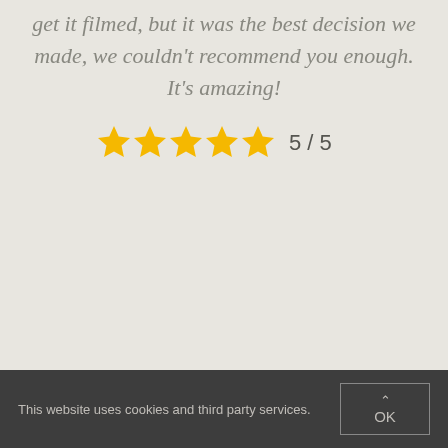get it filmed, but it was the best decision we made, we couldn't recommend you enough. It's amazing!
[Figure (infographic): Five gold star rating icons followed by the text '5 / 5']
This website uses cookies and third party services. OK